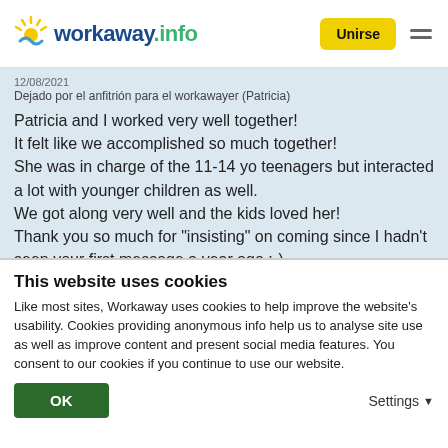workaway.info — Unirse
Dejado por el anfitrión para el workawayer (Patricia)
Patricia and I worked very well together!
It felt like we accomplished so much together!
She was in charge of the 11-14 yo teenagers but interacted a lot with younger children as well.
We got along very well and the kids loved her!
Thank you so much for "insisting" on coming since I hadn't seen your first message a year ago ;-)
[Figure (photo): Circular avatar photo of a person]
This website uses cookies
Like most sites, Workaway uses cookies to help improve the website's usability. Cookies providing anonymous info help us to analyse site use as well as improve content and present social media features.  You consent to our cookies if you continue to use our website.
OK
Settings